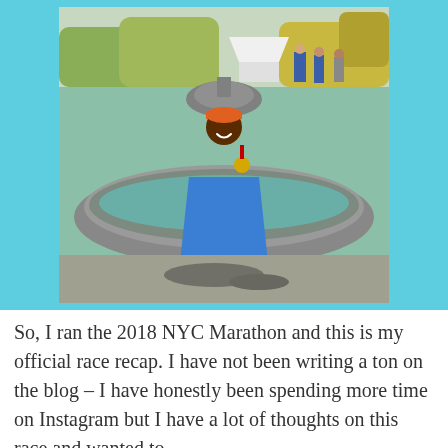[Figure (photo): A runner wearing a blue NYC Marathon mylar blanket and holding a gold finisher medal, standing in front of a large stone fountain in Central Park after completing the 2018 NYC Marathon. The runner is smiling and wearing an orange cap. Fall foliage and a white tent are visible in the background.]
So, I ran the 2018 NYC Marathon and this is my official race recap. I have not been writing a ton on the blog – I have honestly been spending more time on Instagram but I have a lot of thoughts on this race and wanted to